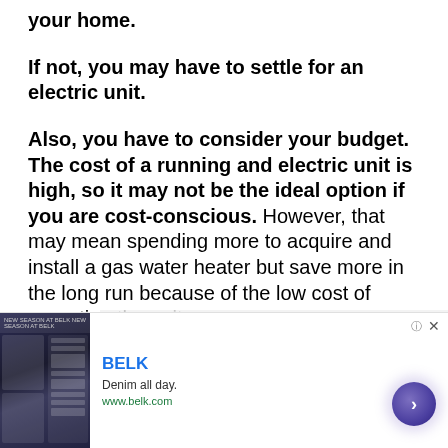your home.
If not, you may have to settle for an electric unit.
Also, you have to consider your budget. The cost of a running and electric unit is high, so it may not be the ideal option if you are cost-conscious. However, that may mean spending more to acquire and install a gas water heater but save more in the long run because of the low cost of operating the unit.
Finally, you must consider your hot water
[Figure (other): Advertisement overlay for BELK - Denim all day. www.belk.com with a dark fashion image and arrow button]